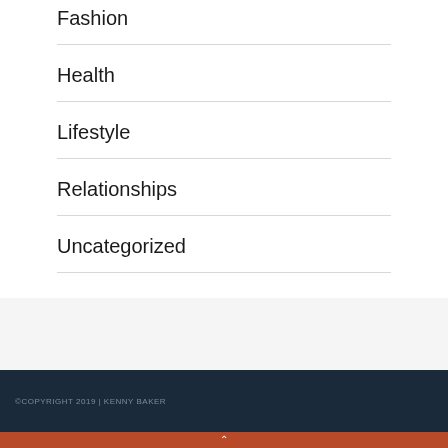Fashion
Health
Lifestyle
Relationships
Uncategorized
©COPYRIGHT 2019 | KENNY BAKER